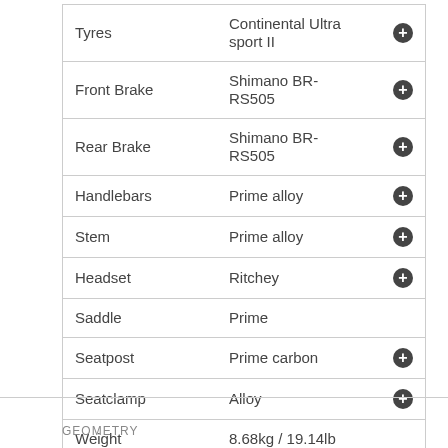| Component | Specification |  |
| --- | --- | --- |
| Tyres | Continental Ultra sport II | + |
| Front Brake | Shimano BR-RS505 | + |
| Rear Brake | Shimano BR-RS505 | + |
| Handlebars | Prime alloy | + |
| Stem | Prime alloy | + |
| Headset | Ritchey | + |
| Saddle | Prime |  |
| Seatpost | Prime carbon | + |
| Seatclamp | Alloy | + |
| Weight | 8.68kg / 19.14lb |  |
GEOMETRY